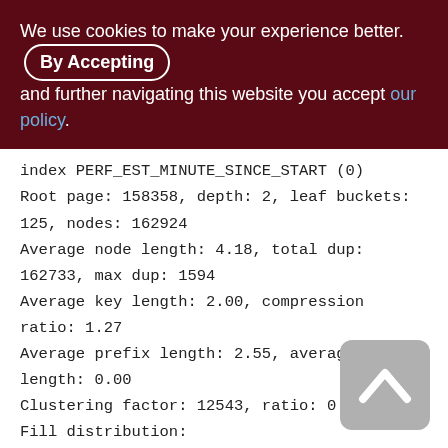We use cookies to make your experience better. By Accepting and further navigating this website you accept our policy.
index PERF_EST_MINUTE_SINCE_START (0)
Root page: 158358, depth: 2, leaf buckets: 125, nodes: 162924
Average node length: 4.18, total dup: 162733, max dup: 1594
Average key length: 2.00, compression ratio: 1.27
Average prefix length: 2.55, average data length: 0.00
Clustering factor: 12543, ratio: 0.08
Fill distribution:
0 - 19% = 1
20 - 39% = 0